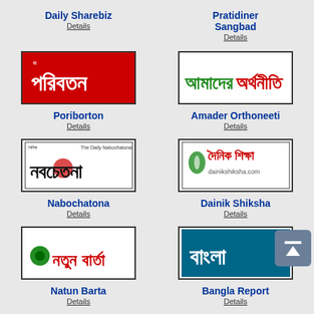Daily Sharebiz
Pratidiner Sangbad
Details
Details
[Figure (logo): Poriborton newspaper logo - red background with white Bengali text]
[Figure (logo): Amader Orthoneeti newspaper logo - green and red Bengali text on white]
Poriborton
Amader Orthoneeti
Details
Details
[Figure (logo): Nabochatona newspaper logo - black Bengali text on white background]
[Figure (logo): Dainik Shiksha newspaper logo - Bengali and English text with leaf icon]
Nabochatona
Dainik Shiksha
Details
Details
[Figure (logo): Natun Barta newspaper logo - green and red Bengali text on white]
[Figure (logo): Bangla Report newspaper logo - white Bengali text on teal background]
Natun Barta
Bangla Report
Details
Details
[Figure (logo): Desh Sangbad newspaper logo - green and red Bengali text]
[Figure (logo): bdview24 newspaper logo - blue and orange text on white]